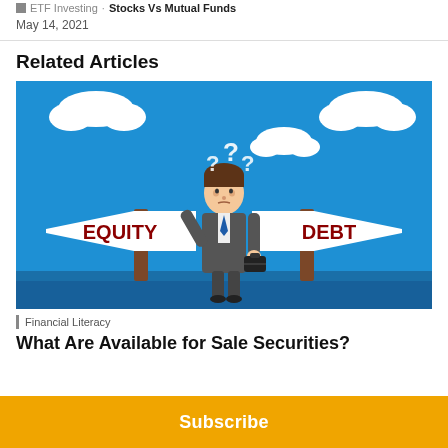ETF Investing · Stocks Vs Mutual Funds
May 14, 2021
Related Articles
[Figure (illustration): Cartoon illustration of a person standing between two road signs labeled EQUITY (pointing left) and DEBT (pointing right), with question marks above their head. Blue sky background with clouds.]
Financial Literacy
What Are Available for Sale Securities?
Subscribe